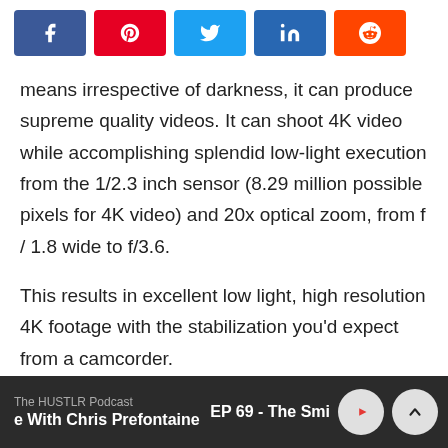[Figure (infographic): Social media share buttons: Facebook (blue), Pinterest (red), Twitter (light blue), LinkedIn (dark blue), Reddit (orange)]
means irrespective of darkness, it can produce supreme quality videos. It can shoot 4K video while accomplishing splendid low-light execution from the 1/2.3 inch sensor (8.29 million possible pixels for 4K video) and 20x optical zoom, from f/1.8 wide to f/3.6.
This results in excellent low light, high resolution 4K footage with the stabilization you'd expect from a camcorder.
The HUSTLR Podcast | With Chris Prefontaine | EP 69 - The Smi